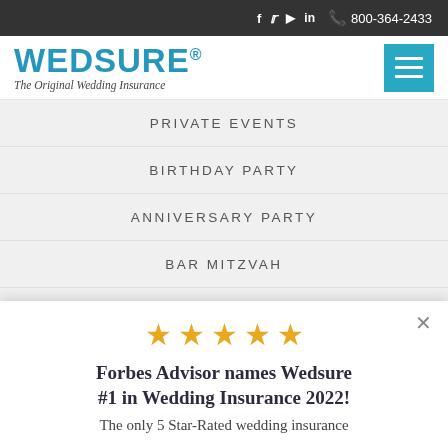f  twitter  youtube  in  800-364-2433
[Figure (logo): Wedsure logo with text 'WEDSURE® The Original Wedding Insurance' and a teal hamburger menu button]
PRIVATE EVENTS
BIRTHDAY PARTY
ANNIVERSARY PARTY
BAR MITZVAH
BABY/WEDDING SHOWER
QUINCEANERA
★★★★★
Forbes Advisor names Wedsure #1 in Wedding Insurance 2022!
The only 5 Star-Rated wedding insurance